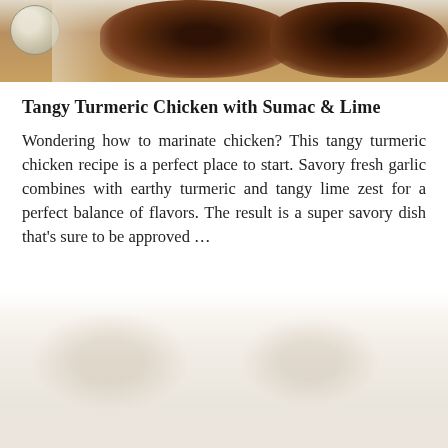[Figure (photo): Top portion of a food photo showing roasted/marinated turmeric chicken pieces on a white plate with a lime half visible in the upper left corner. The chicken appears browned and spiced.]
Tangy Turmeric Chicken with Sumac & Lime
Wondering how to marinate chicken? This tangy turmeric chicken recipe is a perfect place to start. Savory fresh garlic combines with earthy turmeric and tangy lime zest for a perfect balance of flavors. The result is a super savory dish that's sure to be approved ...
[Figure (photo): Faded/partially visible food photograph below the text, showing another dish or the same dish at lower opacity, blending into the white background.]